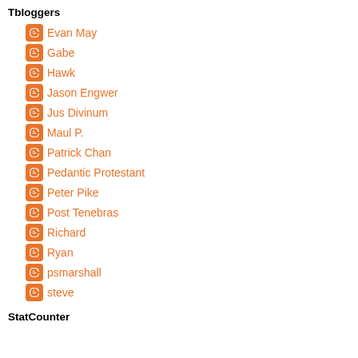Tbloggers
Evan May
Gabe
Hawk
Jason Engwer
Jus Divinum
Maul P.
Patrick Chan
Pedantic Protestant
Peter Pike
Post Tenebras
Richard
Ryan
psmarshall
steve
StatCounter